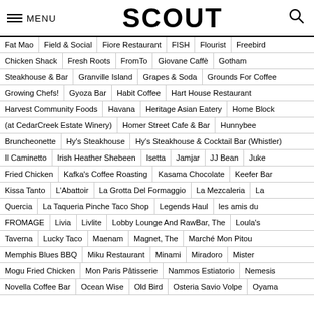MENU | SCOUT
Fat Mao | Field & Social | Fiore Restaurant | FISH | Flourist | Freebird
Chicken Shack | Fresh Roots | FromTo | Giovane Caffè | Gotham
Steakhouse & Bar | Granville Island | Grapes & Soda | Grounds For Coffee
Growing Chefs! | Gyoza Bar | Habit Coffee | Hart House Restaurant
Harvest Community Foods | Havana | Heritage Asian Eatery | Home Block
(at CedarCreek Estate Winery) | Homer Street Cafe & Bar | Hunnybee
Bruncheonette | Hy's Steakhouse | Hy's Steakhouse & Cocktail Bar (Whistler)
Il Caminetto | Irish Heather Shebeen | Isetta | Jamjar | JJ Bean | Juke
Fried Chicken | Kafka's Coffee Roasting | Kasama Chocolate | Keefer Bar
Kissa Tanto | L'Abattoir | La Grotta Del Formaggio | La Mezcaleria | La
Quercia | La Taqueria Pinche Taco Shop | Legends Haul | les amis du
FROMAGE | Livia | Livlite | Lobby Lounge And RawBar, The | Loula's
Taverna | Lucky Taco | Maenam | Magnet, The | Marché Mon Pitou
Memphis Blues BBQ | Miku Restaurant | Minami | Miradoro | Mister
Mogu Fried Chicken | Mon Paris Pâtisserie | Nammos Estiatorio | Nemesis
Novella Coffee Bar | Ocean Wise | Old Bird | Osteria Savio Volpe | Oyama